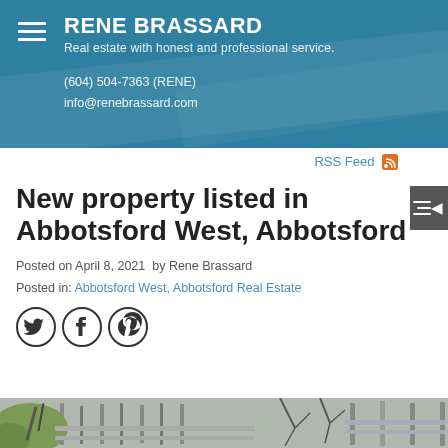RENE BRASSARD
Real estate with honest and professional service.
(604) 504-7363 (RENE)
info@renebrassard.com
RSS Feed
New property listed in Abbotsford West, Abbotsford
Posted on April 8, 2021  by Rene Brassard
Posted in: Abbotsford West, Abbotsford Real Estate
[Figure (screenshot): Social media share icons: Twitter, Facebook, Pinterest]
[Figure (photo): Bottom strip showing partial photo of a property listing]